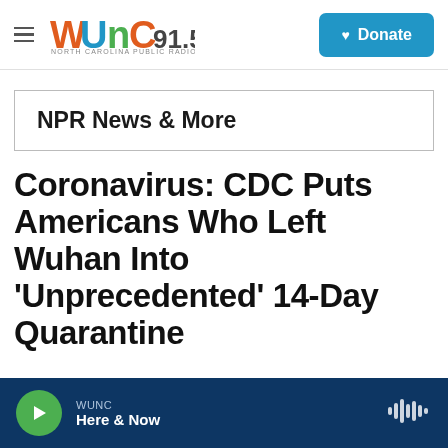WUNC 91.5 North Carolina Public Radio — Donate
NPR News & More
Coronavirus: CDC Puts Americans Who Left Wuhan Into 'Unprecedented' 14-Day Quarantine
WUNC Here & Now